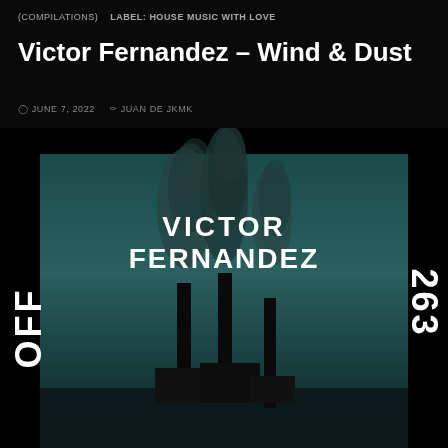(COMPILATIONS)  LABEL: HOUSE MUSIC WITH LOVE
Victor Fernandez – Wind & Dust
JUNE 7, 2022   JUAN DE JKMK
[Figure (photo): Album artwork for Victor Fernandez – Wind & Dust on OFF263 label. Black background with a square image showing industrial smokestacks against a teal/dark sky with smoke rising. White bold italic 'VICTOR FERNANDEZ' text overlaid at top of image. 'OFF' written vertically on left side and '263' written vertically on right side in large white bold italic text.]